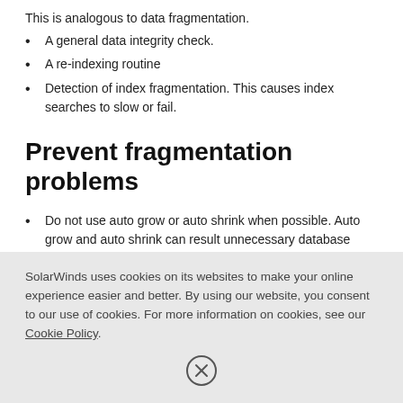This is analogous to data fragmentation.
A general data integrity check.
A re-indexing routine
Detection of index fragmentation. This causes index searches to slow or fail.
Prevent fragmentation problems
Do not use auto grow or auto shrink when possible. Auto grow and auto shrink can result unnecessary database tasks and index fragmentation.
Do not manually shrink your database to recover disk
SolarWinds uses cookies on its websites to make your online experience easier and better. By using our website, you consent to our use of cookies. For more information on cookies, see our Cookie Policy.